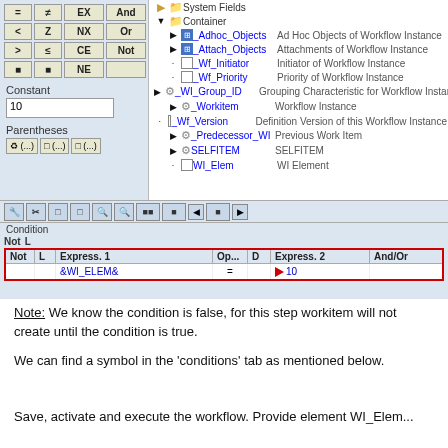[Figure (screenshot): SAP workflow condition builder screenshot showing left panel with operator buttons (=, ≠, EX, And, <, Z, NX, Or, >, ≤, CE, Not, >, ≤, NE), Constant field with value 10, Parentheses buttons; right panel showing tree with System Fields, Container items including _Adhoc_Objects, _Attach_Objects, _Wf_Initiator, _Wf_Priority, _WI_Group_ID, _Workitem, _Wf_Version, _Predecessor_WI, SELFITEM, WI_Elem; toolbar strip; Condition table with red border showing &WI_ELEM& = (red arrow)10]
Note: We know the condition is false, for this step workitem will not create until the condition is true.
We can find a symbol in the 'conditions' tab as mentioned below.
Save, activate and execute the workflow. Provide element WI_Elem...